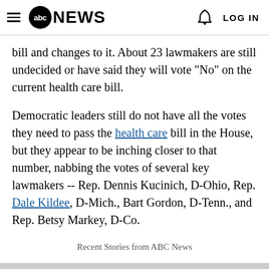ABC NEWS  LOG IN
bill and changes to it. About 23 lawmakers are still undecided or have said they will vote "No" on the current health care bill.
Democratic leaders still do not have all the votes they need to pass the health care bill in the House, but they appear to be inching closer to that number, nabbing the votes of several key lawmakers -- Rep. Dennis Kucinich, D-Ohio, Rep. Dale Kildee, D-Mich., Bart Gordon, D-Tenn., and Rep. Betsy Markey, D-Co.
Recent Stories from ABC News